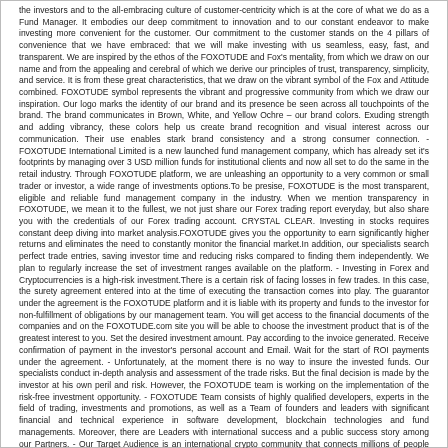the investors and to the all-embracing culture of customer-centricity which is at the core of what we do as a Fund Manager. It embodies our deep commitment to innovation and to our constant endeavor to make investing more convenient for the customer. Our commitment to the customer stands on the 4 pillars of convenience that we have embraced: that we will make investing with us seamless, easy, fast, and transparent. We are inspired by the ethos of the FOXOTUDE and Fox's mentality, from which we draw on our name and from the appealing and cerebral of which we derive our principles of trust, transparency, simplicity, and service. It is from these great characteristics, that we draw on the vibrant symbol of the Fox and Attitude combined. FOXOTUDE symbol represents the vibrant and progressive community from which we draw our inspiration. Our logo marks the identity of our brand and its presence be seen across all touchpoints of the brand. The brand communicates in Brown, White, and Yellow Ochre – our brand colors. Exuding strength and adding vibrancy, these colors help us create brand recognition and visual interest across our communication. Their use enables stark brand consistency and a strong consumer connection. - FOXOTUDE International Limited is a new launched fund management company, which has already set it's footprints by managing over 3 USD million funds for institutional clients and now all set to do the same in the retail industry. Through FOXOTUDE platform, we are unleashing an opportunity to a very common or small trader or investor, a wide range of investments options.To be presise, FOXOTUDE is the most transparent, eligible and reliable fund management company in the industry. When we mention transparency in FOXOTUDE, we mean it to the fullest, we not just share our Forex trading report everyday, but also share you with the credentials of our Forex trading account. CRYSTAL CLEAR. Investing in stocks requires constant deep diving into market analysis.FOXOTUDE gives you the opportunity to earn significantly higher returns and eliminates the need to constantly monitor the financial market.In addition, our specialists search perfect trade entries, saving investor time and reducing risks compared to finding them independently. We plan to regularly increase the set of investment ranges available on the platform. - Investing in Forex and Cryptocurrencies is a high-risk investment.There is a certain risk of facing losses in few trades. In this case, the surety agreement entered into at the time of executing the transaction comes into play. The guarantor under the agreement is the FOXOTUDE platform and it is liable with its property and funds to the investor for non-fulfillment of obligations by our management team. You will get access to the financial documents of the companies and on the FOXOTUDE.com site you will be able to choose the investment product that is of the greatest interest to you. Set the desired investment amount. Pay according to the invoice generated. Receive confirmation of payment in the investor's personal account and Email. Wait for the start of ROI payments under the agreement. - Unfortunately, at the moment there is no way to insure the invested funds. Our specialists conduct in-depth analysis and assessment of the trade risks. But the final decision is made by the investor at his own peril and risk. However, the FOXOTUDE team is working on the implementation of the risk-free investment opportunity. - FOXOTUDE Team consists of highly qualified developers, experts in the field of trading, investments and promotions, as well as a Team of founders and leaders with significant financial and technical experience in software development, blockchain technologies and fund managements. Moreover, there are Leaders with international success and a public success story among our Partners. - Our Target Audience is an international crypto community that connects millions of people around the world into a single network. The more money the FOXOTUDE system manages, the easier it is to manipulate the market, so that more money each community member can earn. FOXOTUDE focuses on serving Globally, therefore, no is no better option than Cryptocurrency. To be precise, users can invest through Bitcoin (BTC), Tron (TRX),